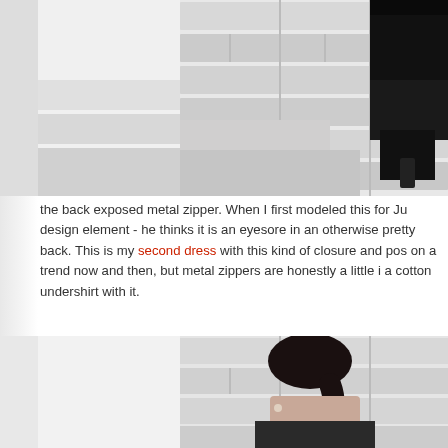[Figure (photo): Photo of a person's legs and feet wearing black high-heeled boots, standing near white brick steps/wall. Only the lower body is visible.]
the back exposed metal zipper. When I first modeled this for Ju design element - he thinks it is an eyesore in an otherwise pretty back. This is my second dress with this kind of closure and pos on a trend now and then, but metal zippers are honestly a little i a cotton undershirt with it.
[Figure (photo): Photo of a woman with dark hair in a ponytail, viewed from behind, standing against a white brick wall.]